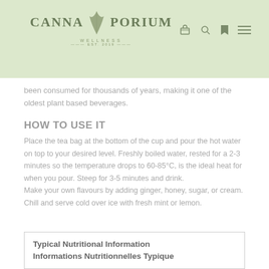CANNAPORIUM WELLNESS EST. 2019
been consumed for thousands of years, making it one of the oldest plant based beverages.
HOW TO USE IT
Place the tea bag at the bottom of the cup and pour the hot water on top to your desired level. Freshly boiled water, rested for a 2-3 minutes so the temperature drops to 60-85°C, is the ideal heat for when you pour. Steep for 3-5 minutes and drink.
Make your own flavours by adding ginger, honey, sugar, or cream. Chill and serve cold over ice with fresh mint or lemon.
| Typical Nutritional Information / Informations Nutritionnelles Typique |
| --- |